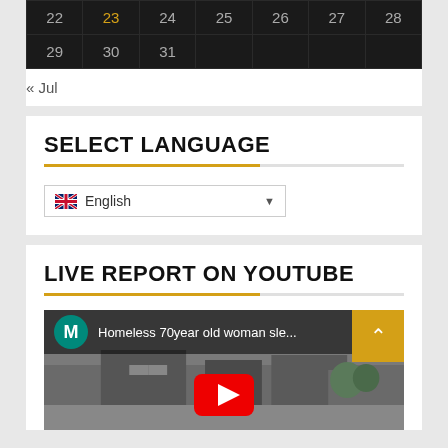| 22 | 23 | 24 | 25 | 26 | 27 | 28 |
| 29 | 30 | 31 |  |  |  |  |
« Jul
SELECT LANGUAGE
[Figure (screenshot): Language selector dropdown showing English with UK flag]
LIVE REPORT ON YOUTUBE
[Figure (screenshot): YouTube thumbnail showing 'Homeless 70year old woman sle...' with teal M avatar, street scene background, and back-to-top arrow button]